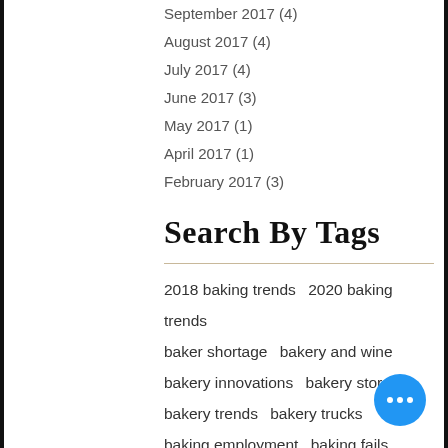September 2017 (4)
August 2017 (4)
July 2017 (4)
June 2017 (3)
May 2017 (1)
April 2017 (1)
February 2017 (3)
Search By Tags
2018 baking trends   2020 baking trends   baker shortage   bakery and wine   bakery innovations   bakery storage   bakery trends   bakery trucks   baking employment   baking fails